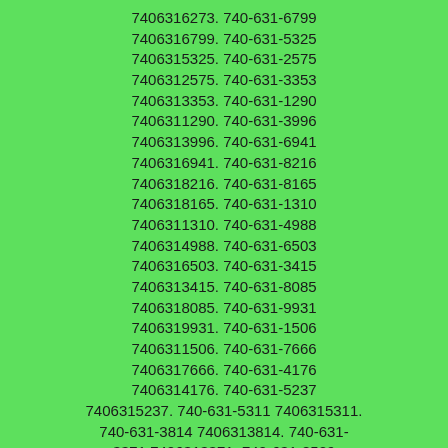7406316273. 740-631-6799
7406316799. 740-631-5325
7406315325. 740-631-2575
7406312575. 740-631-3353
7406313353. 740-631-1290
7406311290. 740-631-3996
7406313996. 740-631-6941
7406316941. 740-631-8216
7406318216. 740-631-8165
7406318165. 740-631-1310
7406311310. 740-631-4988
7406314988. 740-631-6503
7406316503. 740-631-3415
7406313415. 740-631-8085
7406318085. 740-631-9931
7406319931. 740-631-1506
7406311506. 740-631-7666
7406317666. 740-631-4176
7406314176. 740-631-5237
7406315237. 740-631-5311 7406315311.
740-631-3814 7406313814. 740-631-3371 7406313371. 740-631-8529
7406318529. 740-631-8233
7406318233. 740-631-1390
7406311390. 740-631-2758